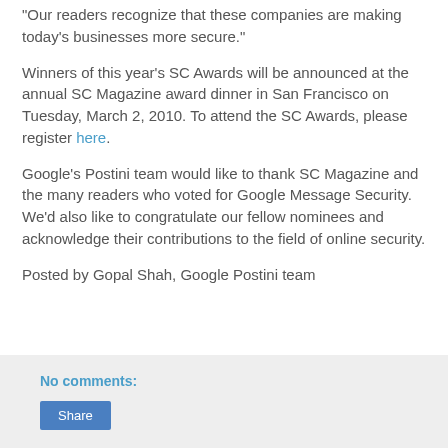"Our readers recognize that these companies are making today's businesses more secure."
Winners of this year's SC Awards will be announced at the annual SC Magazine award dinner in San Francisco on Tuesday, March 2, 2010. To attend the SC Awards, please register here.
Google's Postini team would like to thank SC Magazine and the many readers who voted for Google Message Security. We'd also like to congratulate our fellow nominees and acknowledge their contributions to the field of online security.
Posted by Gopal Shah, Google Postini team
No comments:
Share